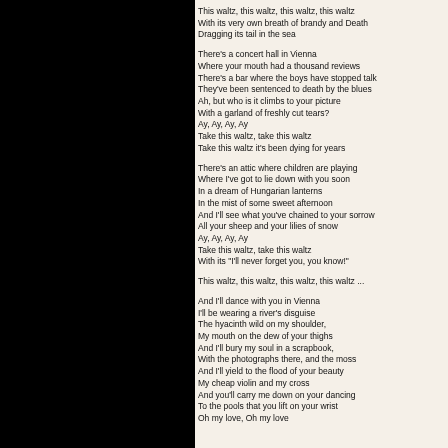[Figure (photo): Black panel on the left side of the page]
This waltz, this waltz, this waltz, this waltz
With its very own breath of brandy and Death
Dragging its tail in the sea

There's a concert hall in Vienna
Where your mouth had a thousand reviews
There's a bar where the boys have stopped talk
They've been sentenced to death by the blues
Ah, but who is it climbs to your picture
With a garland of freshly cut tears?
Ay, Ay, Ay, Ay
Take this waltz, take this waltz
Take this waltz it's been dying for years

There's an attic where children are playing
Where I've got to lie down with you soon
In a dream of Hungarian lanterns
In the mist of some sweet afternoon
And I'll see what you've chained to your sorrow
All your sheep and your lilies of snow
Ay, Ay, Ay, Ay
Take this waltz, take this waltz
With its "I'll never forget you, you know!"

This waltz, this waltz, this waltz, this waltz ...

And I'll dance with you in Vienna
I'll be wearing a river's disguise
The hyacinth wild on my shoulder,
My mouth on the dew of your thighs
And I'll bury my soul in a scrapbook,
With the photographs there, and the moss
And I'll yield to the flood of your beauty
My cheap violin and my cross
And you'll carry me down on your dancing
To the pools that you lift on your wrist
Oh my love, Oh my love